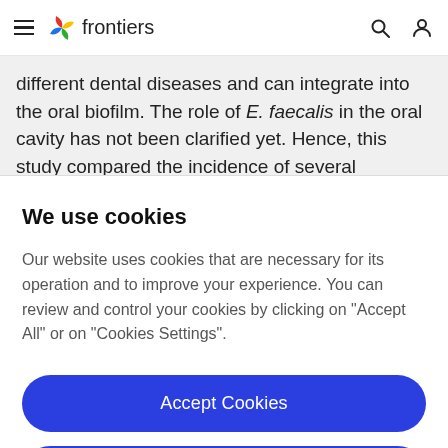frontiers
different dental diseases and can integrate into the oral biofilm. The role of E. faecalis in the oral cavity has not been clarified yet. Hence, this study compared the incidence of several virulence genes, phenotypic
We use cookies
Our website uses cookies that are necessary for its operation and to improve your experience. You can review and control your cookies by clicking on "Accept All" or on "Cookies Settings".
Accept Cookies
Cookies Settings